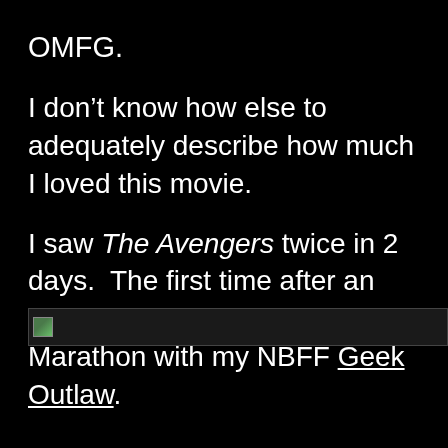OMFG.
I don’t know how else to adequately describe how much I loved this movie.
I saw The Avengers twice in 2 days.  The first time after an epic all-day Marvel Movie Marathon with my NBFF Geek Outlaw.
[Figure (photo): Broken/placeholder image thumbnail strip at the bottom of the text content area]